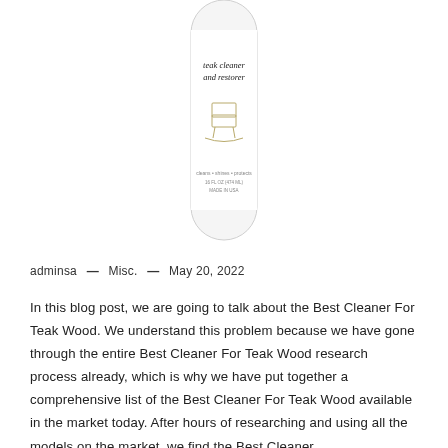[Figure (photo): A white cylindrical bottle of teak cleaner and restorer product. The label reads 'teak cleaner and restorer' at the top, features a line drawing of a rocking chair in the middle, and text at the bottom: 'cleans • shines • protects', '16 FL OZ (474 ML)', 'MADE IN USA'.]
adminsa — Misc. — May 20, 2022
In this blog post, we are going to talk about the Best Cleaner For Teak Wood. We understand this problem because we have gone through the entire Best Cleaner For Teak Wood research process already, which is why we have put together a comprehensive list of the Best Cleaner For Teak Wood available in the market today. After hours of researching and using all the models on the market, we find the Best Cleaner